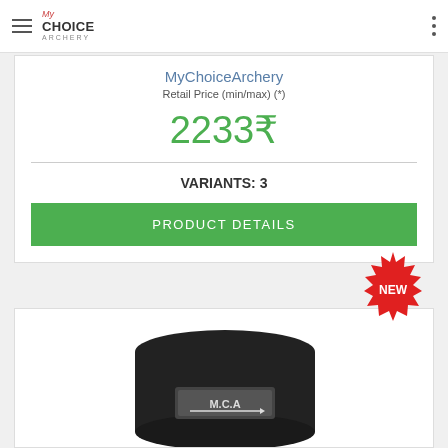MyChoiceArchery (navigation bar with hamburger menu and dots menu)
MyChoiceArchery
Retail Price (min/max) (*)
2233₹
VARIANTS: 3
PRODUCT DETAILS
[Figure (photo): Black archery product (M.C.A branded cap/damper) shown in lower product card with a red 'NEW' starburst badge]
NEW